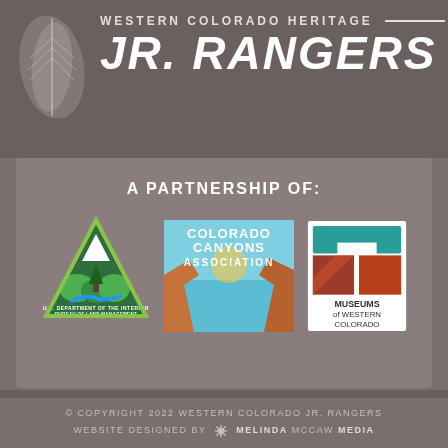WESTERN COLORADO HERITAGE JR. RANGERS
A PARTNERSHIP OF:
[Figure (logo): U.S. Department of the Interior Bureau of Land Management triangular badge logo with green landscape and river]
[Figure (logo): Colorado Canyons Association logo with teal background and canyon landscape]
[Figure (logo): Museums of Western Colorado logo with teal and red geometric shapes]
© COPYRIGHT 2022 WESTERN COLORADO JR. RANGERS
WEBSITE DESIGNED BY MELINDA MCCAW MEDIA